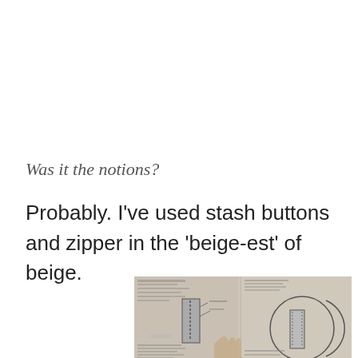Was it the notions?
Probably. I've used stash buttons and zipper in the 'beige-est' of beige.
[Figure (photo): A sewing pattern instruction page showing zipper installation diagrams, including a zipper sandwich illustration and a circular detail view of stitching, with a hand pointing at the pattern.]